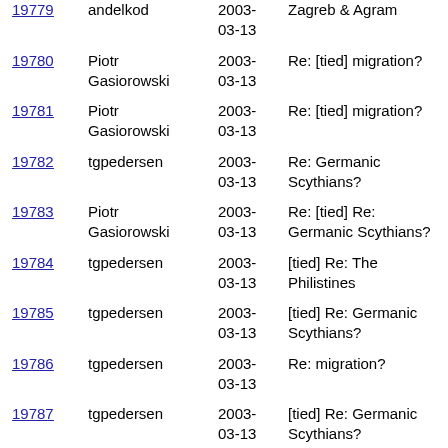| ID | Author | Date | Subject |
| --- | --- | --- | --- |
| 19779 | andelkod | 2003-03-13 | Zagreb & Agram |
| 19780 | Piotr Gasiorowski | 2003-03-13 | Re: [tied] migration? |
| 19781 | Piotr Gasiorowski | 2003-03-13 | Re: [tied] migration? |
| 19782 | tgpedersen | 2003-03-13 | Re: Germanic Scythians? |
| 19783 | Piotr Gasiorowski | 2003-03-13 | Re: [tied] Re: Germanic Scythians? |
| 19784 | tgpedersen | 2003-03-13 | [tied] Re: The Philistines |
| 19785 | tgpedersen | 2003-03-13 | [tied] Re: Germanic Scythians? |
| 19786 | tgpedersen | 2003-03-13 | Re: migration? |
| 19787 | tgpedersen | 2003-03-13 | [tied] Re: Germanic Scythians? |
| 19788 | Piotr Gasiorowski | 2003-03-13 | Re: [tied] Re: Germanic Scythians? |
| 19789 | Piotr Gasiorowski | 2003-03-13 | Re: [tied] Re: Germanic Scythians? |